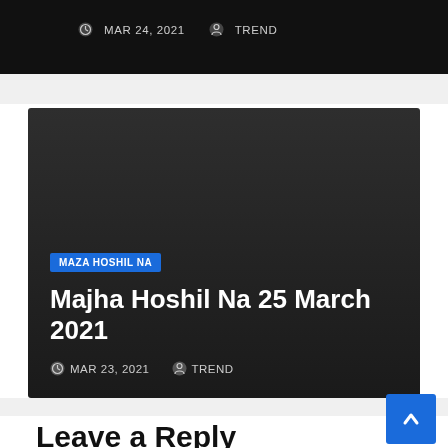MAR 24, 2021   TREND
[Figure (screenshot): Dark article card with blue MAZA HOSHIL NA category badge, title Majha Hoshil Na 25 March 2021, and metadata MAR 23, 2021 and TREND]
Majha Hoshil Na 25 March 2021
MAR 23, 2021   TREND
Leave a Reply